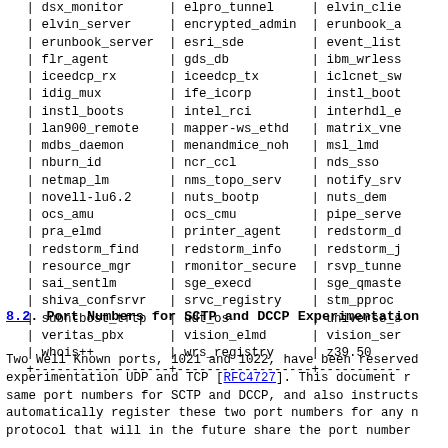| dsx_monitor | elpro_tunnel | elvin_clie |
| elvin_server | encrypted_admin | erunbook_a |
| erunbook_server | esri_sde | event_list |
| flr_agent | gds_db | ibm_wrless |
| iceedcp_rx | iceedcp_tx | iclcnet_sw |
| idig_mux | ife_icorp | instl_boot |
| instl_boots | intel_rci | interhdl_e |
| lan900_remote | mapper-ws_ethd | matrix_vne |
| mdbs_daemon | menandmice_noh | msl_lmd |
| nburn_id | ncr_ccl | nds_sso |
| netmap_lm | nms_topo_serv | notify_srv |
| novell-lu6.2 | nuts_bootp | nuts_dem |
| ocs_amu | ocs_cmu | pipe_serve |
| pra_elmd | printer_agent | redstorm_d |
| redstorm_find | redstorm_info | redstorm_j |
| resource_mgr | rmonitor_secure | rsvp_tunne |
| sai_sentlm | sge_execd | sge_qmaste |
| shiva_confsrvr | srvc_registry | stm_pproc |
| subntbcst_tftp | udt_os | universe_s |
| veritas_pbx | vision_elmd | vision_ser |
| whois++ | wrs_registry | z39.50 |
8.2. Port Numbers for SCTP and DCCP Experimentation
Two Well Known ports, 1021 and 1022, have been reserved for experimentation UDP and TCP [RFC4727].  This document reserves the same port numbers for SCTP and DCCP, and also instructs IANA to automatically register these two port numbers for any new transport protocol that will in the future share the port number